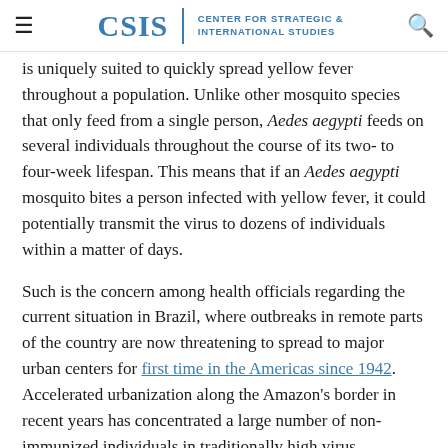CSIS | CENTER FOR STRATEGIC & INTERNATIONAL STUDIES
is uniquely suited to quickly spread yellow fever throughout a population. Unlike other mosquito species that only feed from a single person, Aedes aegypti feeds on several individuals throughout the course of its two- to four-week lifespan. This means that if an Aedes aegypti mosquito bites a person infected with yellow fever, it could potentially transmit the virus to dozens of individuals within a matter of days.
Such is the concern among health officials regarding the current situation in Brazil, where outbreaks in remote parts of the country are now threatening to spread to major urban centers for first time in the Americas since 1942. Accelerated urbanization along the Amazon's border in recent years has concentrated a large number of non-immunized individuals in traditionally high virus transmission areas, resulting in the current spike of